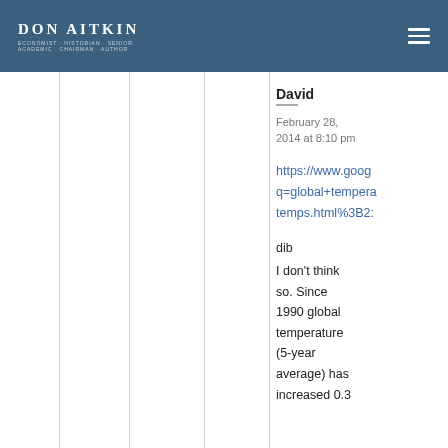DON AITKIN
David
February 28, 2014 at 8:10 pm
https://www.goog q=global+temper temps.html%3B2:
dib
I don't think so. Since 1990 global temperature (5-year average) has increased 0.3